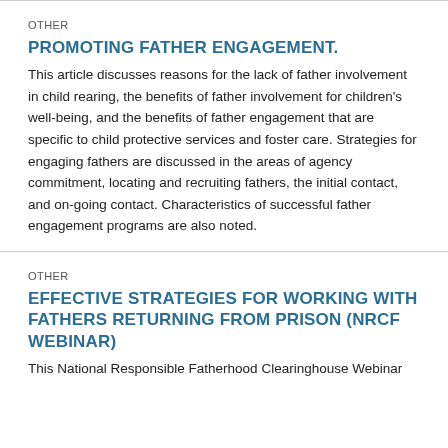OTHER
PROMOTING FATHER ENGAGEMENT.
This article discusses reasons for the lack of father involvement in child rearing, the benefits of father involvement for children's well-being, and the benefits of father engagement that are specific to child protective services and foster care. Strategies for engaging fathers are discussed in the areas of agency commitment, locating and recruiting fathers, the initial contact, and on-going contact. Characteristics of successful father engagement programs are also noted.
OTHER
EFFECTIVE STRATEGIES FOR WORKING WITH FATHERS RETURNING FROM PRISON (NRCF WEBINAR)
This National Responsible Fatherhood Clearinghouse Webinar